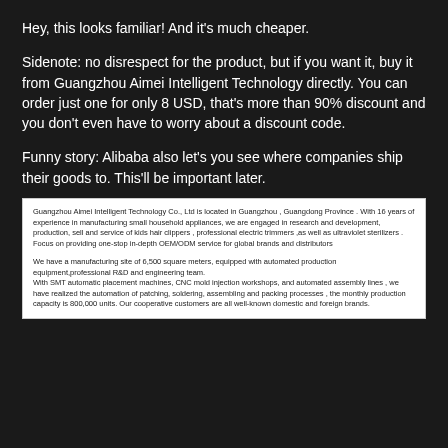Hey, this looks familiar! And it's much cheaper.
Sidenote: no disrespect for the product, but if you want it, buy it from Guangzhou Aimei Intelligent Technology directly. You can order just one for only 8 USD, that's more than 90% discount and you don't even have to worry about a discount code.
Funny story: Alibaba also let's you see where companies ship their goods to. This'll be important later.
Guangzhou Aimei Intelligent Technology Co., Ltd is located in Guangzhou , Guangdong Province . With 16 years of experience in manufacturing small household appliances, we are engaged in research and development, production, sell and service of kids hair clippers , professional electric trimmers ,as well as ultraviolet sterilizers . Focus on providing one-stop in-depth OEM/ODM service for global brands and distributors

We have a manufacturing site of 6,500 square meters, equipped with automated production equipment,professional R&D and engineering team.
With SMT automatic placement machines, CNC mold injection workshops, and automated assembly lines , we have realized the automation of patching, soldering, assembling and packing processes , the monthly production capacity is 800,000 units. Our cooperative customers are all well-known domestic and foreign brands.